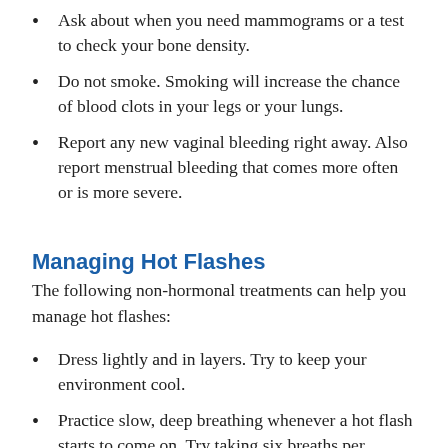Ask about when you need mammograms or a test to check your bone density.
Do not smoke. Smoking will increase the chance of blood clots in your legs or your lungs.
Report any new vaginal bleeding right away. Also report menstrual bleeding that comes more often or is more severe.
Managing Hot Flashes
The following non-hormonal treatments can help you manage hot flashes:
Dress lightly and in layers. Try to keep your environment cool.
Practice slow, deep breathing whenever a hot flash starts to come on. Try taking six breaths per minute.
Try relaxation techniques such as yoga, tai chi, or meditation.